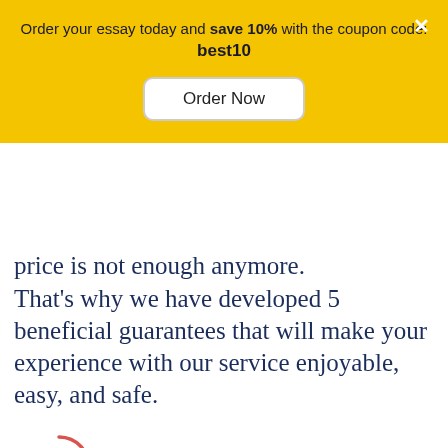Order your essay today and save 10% with the coupon code: best10
Order Now
price is not enough anymore.
That's why we have developed 5 beneficial guarantees that will make your experience with our service enjoyable, easy, and safe.
[Figure (illustration): Money/cash icon with red circular arrows indicating a refund or money-back guarantee]
Money-back guarantee
You have to be 100% sure of the quality of your product to give a money-back guarantee. This describes us perfectly. Make sure that this guarantee is totally transparent.
Chat
Read more